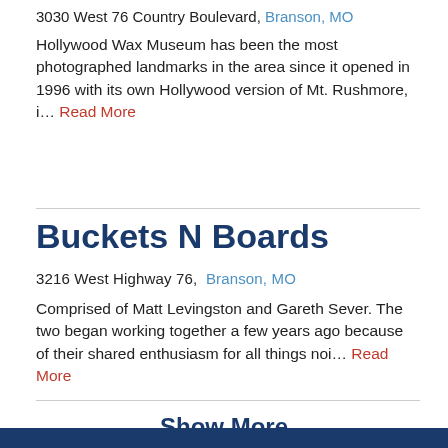3030 West 76 Country Boulevard, Branson, MO
Hollywood Wax Museum has been the most photographed landmarks in the area since it opened in 1996 with its own Hollywood version of Mt. Rushmore, i… Read More
Buckets N Boards
3216 West Highway 76, Branson, MO
Comprised of Matt Levingston and Gareth Sever. The two began working together a few years ago because of their shared enthusiasm for all things noi… Read More
Show More